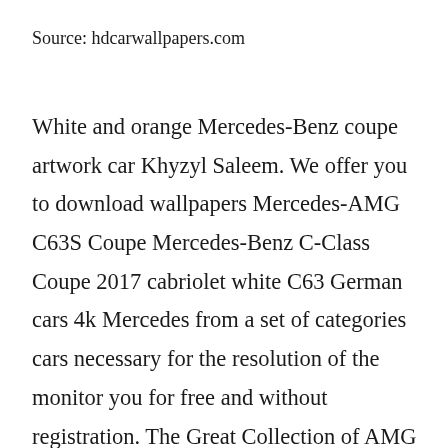Source: hdcarwallpapers.com
White and orange Mercedes-Benz coupe artwork car Khyzyl Saleem. We offer you to download wallpapers Mercedes-AMG C63S Coupe Mercedes-Benz C-Class Coupe 2017 cabriolet white C63 German cars 4k Mercedes from a set of categories cars necessary for the resolution of the monitor you for free and without registration. The Great Collection of AMG C63 Wallpapers for Desktop, Laptop and Mobile. Awesome...